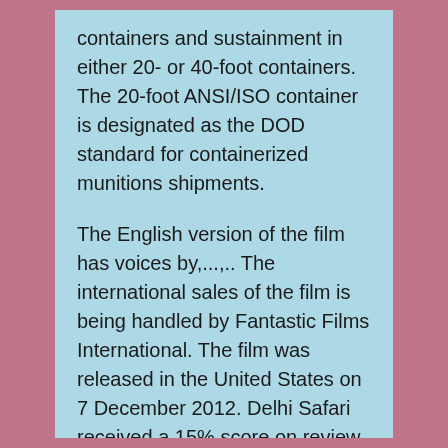containers and sustainment in either 20- or 40-foot containers. The 20-foot ANSI/ISO container is designated as the DOD standard for containerized munitions shipments.
The English version of the film has voices by,...,.. The international sales of the film is being handled by Fantastic Films International. The film was released in the United States on 7 December 2012. Delhi Safari received a 15% score on review aggregator and a 35/100 in. Contents • • • • • • • • • • • • • • Plot [ ] Delhi Safari is the story of a journey undertaken by a leopard cub, his mother, a monkey, a bear and a